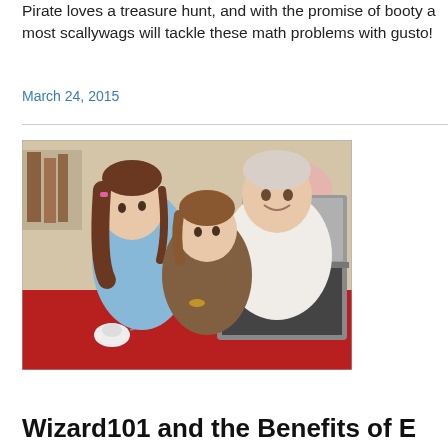Pirate loves a treasure hunt, and with the promise of booty a most scallywags will tackle these math problems with gusto!
March 24, 2015
[Figure (photo): An elderly man and two young girls looking at a laptop computer together on a red table]
Wizard101 and the Benefits of E...